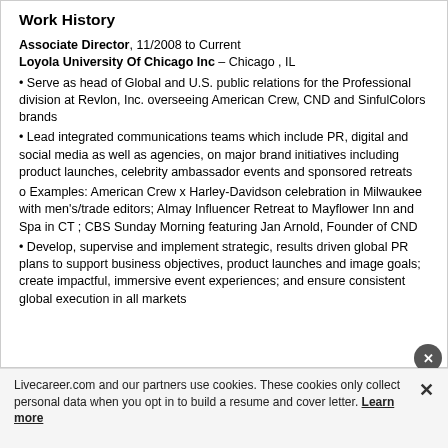Work History
Associate Director, 11/2008 to Current
Loyola University Of Chicago Inc – Chicago , IL
• Serve as head of Global and U.S. public relations for the Professional division at Revlon, Inc. overseeing American Crew, CND and SinfulColors brands
• Lead integrated communications teams which include PR, digital and social media as well as agencies, on major brand initiatives including product launches, celebrity ambassador events and sponsored retreats
o Examples: American Crew x Harley-Davidson celebration in Milwaukee with men's/trade editors; Almay Influencer Retreat to Mayflower Inn and Spa in CT ; CBS Sunday Morning featuring Jan Arnold, Founder of CND
• Develop, supervise and implement strategic, results driven global PR plans to support business objectives, product launches and image goals; create impactful, immersive event experiences; and ensure consistent global execution in all markets
Livecareer.com and our partners use cookies. These cookies only collect personal data when you opt in to build a resume and cover letter. Learn more